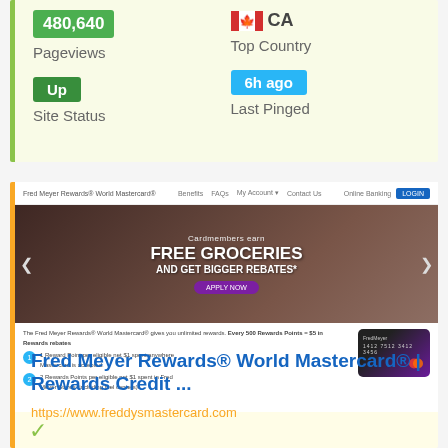480,640
Pageviews
CA
Top Country
Up
Site Status
6h ago
Last Pinged
[Figure (screenshot): Screenshot of Fred Meyer Rewards World Mastercard website showing hero banner with 'Cardmembers earn FREE GROCERIES AND GET BIGGER REBATES' and credit card image]
Fred Meyer Rewards® World Mastercard® | Rewards Credit ...
https://www.freddysmastercard.com